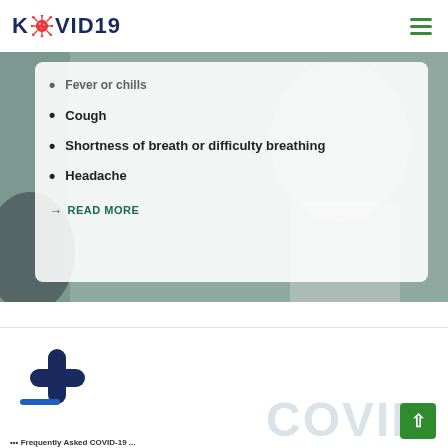KOVID19
Fever or chills
Cough
Shortness of breath or difficulty breathing
Headache
→ READ MORE
[Figure (screenshot): Bottom section showing partial COVID-19 logo/graphic with thermometer icon and back-to-top button]